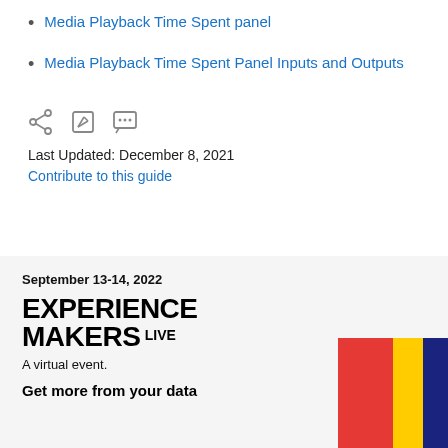Media Playback Time Spent panel
Media Playback Time Spent Panel Inputs and Outputs
[Figure (infographic): Row of three icons: share icon, edit/pencil icon, comment/chat icon]
Last Updated: December 8, 2021
Contribute to this guide
September 13-14, 2022
EXPERIENCE MAKERS LIVE
A virtual event.
Get more from your data